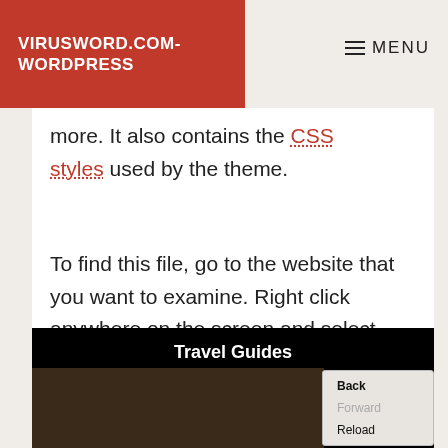VIRUSWORD.COM-WORDPRESS
MENU
more. It also contains the CSS styles used by the theme.
To find this file, go to the website that you want to examine. Right click anywhere on the screen and select 'View Page Source' from the menu.
[Figure (screenshot): Screenshot showing a browser context menu with items Back, Forward, Reload overlaid on a dark image with the text 'Travel Guides' at the top]